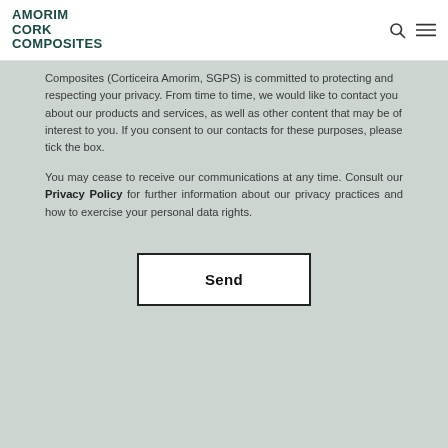AMORIM CORK COMPOSITES
Composites (Corticeira Amorim, SGPS) is committed to protecting and respecting your privacy. From time to time, we would like to contact you about our products and services, as well as other content that may be of interest to you. If you consent to our contacts for these purposes, please tick the box.
You may cease to receive our communications at any time. Consult our Privacy Policy for further information about our privacy practices and how to exercise your personal data rights.
Send